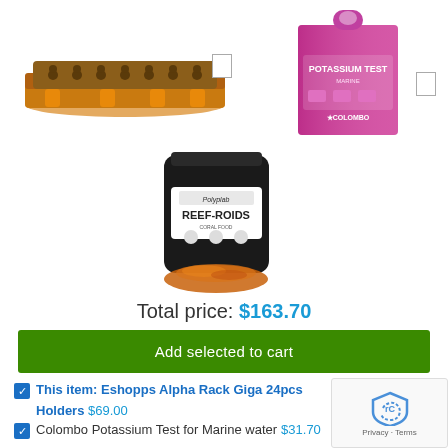[Figure (photo): Eshopps Alpha Rack Giga 24pcs Holders - a flat orange and grey coral frag rack]
[Figure (photo): Colombo Potassium Test for Marine water - pink/purple product box]
[Figure (photo): Polyplab Reef-Roids coral food - black pouch with orange powder]
Total price: $163.70
Add selected to cart
This item: Eshopps Alpha Rack Giga 24pcs Holders $69.00
Colombo Potassium Test for Marine water $31.70